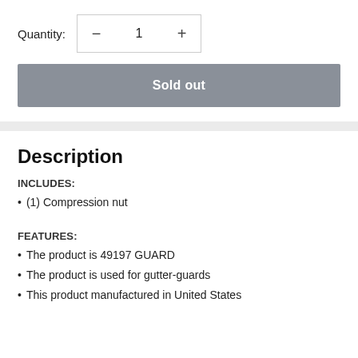Quantity: − 1 +
Sold out
Description
INCLUDES:
(1) Compression nut
FEATURES:
The product is 49197 GUARD
The product is used for gutter-guards
This product manufactured in United States